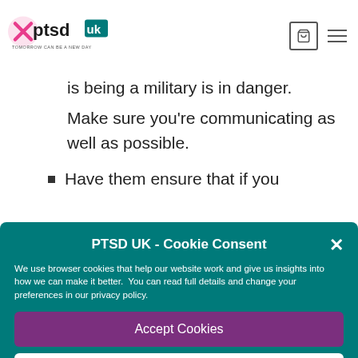[Figure (logo): PTSD UK logo with text 'TOMORROW CAN BE A NEW DAY']
is being a military is in danger.
Make sure you're communicating as well as possible.
Have them ensure that if you
PTSD UK - Cookie Consent
We use browser cookies that help our website work and give us insights into how we can make it better.  You can read full details and change your preferences in our privacy policy.
Accept Cookies
Edit Preferences
Cookie Policy   Privacy